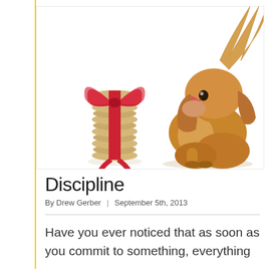[Figure (photo): A fluffy golden dachshund puppy sitting and licking its nose, next to a stack of dog biscuits tied with a red ribbon bow, on a white background.]
Discipline
By Drew Gerber  |  September 5th, 2013
Have you ever noticed that as soon as you commit to something, everything